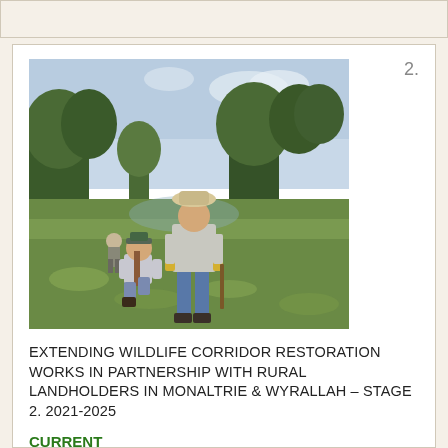[Figure (photo): Two people planting or working in a grassy field with trees in the background. A child kneeling in the foreground and an adult standing wearing a hat and gloves. Another person visible in the background.]
2.
EXTENDING WILDLIFE CORRIDOR RESTORATION WORKS IN PARTNERSHIP WITH RURAL LANDHOLDERS IN MONALTRIE & WYRALLAH – STAGE 2. 2021-2025
CURRENT
This $200,000 project is a partnership between